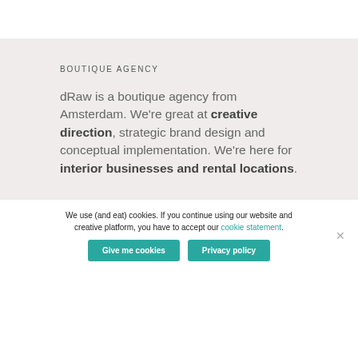BOUTIQUE AGENCY
dRaw is a boutique agency from Amsterdam. We're great at creative direction, strategic brand design and conceptual implementation. We're here for interior businesses and rental locations.
We use (and eat) cookies. If you continue using our website and creative platform, you have to accept our cookie statement.
Give me cookies   Privacy policy